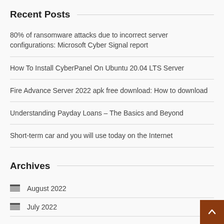Recent Posts
80% of ransomware attacks due to incorrect server configurations: Microsoft Cyber Signal report
How To Install CyberPanel On Ubuntu 20.04 LTS Server
Fire Advance Server 2022 apk free download: How to download
Understanding Payday Loans – The Basics and Beyond
Short-term car and you will use today on the Internet
Archives
August 2022
July 2022